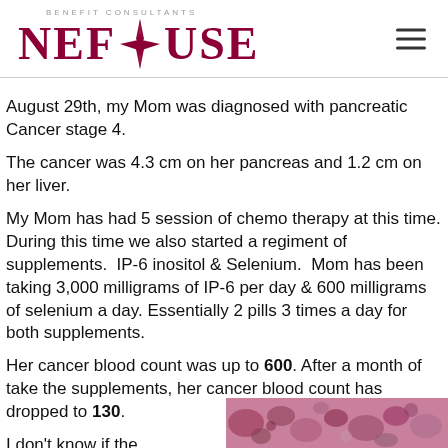BENEFIT CONSULTANTS NEFOUSE
August 29th, my Mom was diagnosed with pancreatic Cancer stage 4.
The cancer was 4.3 cm on her pancreas and 1.2 cm on her liver.
My Mom has had 5 session of chemo therapy at this time. During this time we also started a regiment of supplements.  IP-6 inositol & Selenium.  Mom has been taking 3,000 milligrams of IP-6 per day & 600 milligrams of selenium a day. Essentially 2 pills 3 times a day for both supplements.
Her cancer blood count was up to 600. After a month of take the supplements, her cancer blood count has dropped to 130.
I don't know if the
[Figure (photo): Microscopic tissue image showing purple-stained cellular structures, likely a histological slide of cancer tissue.]